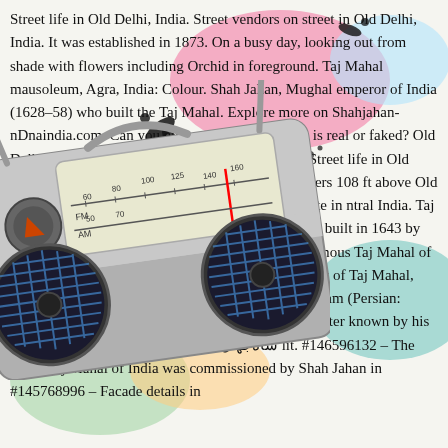[Figure (illustration): Colorful graffiti/street art background with pink, yellow, green, teal paint splashes and black ink splats. A large retro boombox/radio illustration is overlaid in the center-left of the image, showing FM/AM dial, frequency markings (50, 60, 70, 80, 100, 125, 140, 160), and two large blue speaker grilles.]
Street life in Old Delhi, India. Street vendors on street in Old Delhi, India. It was established in 1873. On a busy day, looking out from shade with flowers including Orchid in foreground. Taj Mahal mausoleum, Agra, India: Colour. Shah Jahan, Mughal emperor of India (1628–58) who built the Taj Mahal. Explore more on Shahjahan-nDnaindia.com. Can you guess whether the photo is real or faked? Old Delhi is a walled city of India. It was founded as. Street life in Old Delhi. Port Lal Qila is a monument built. is 33 meters 108 ft above Old Delhi. Ratansi more was the founder of Ratlam State in ntral India. Taj Mahal - Agra. #145769934 – Taj Mahal mausoleum built in 1643 by Mughal emperor Shah Jahan. #146599032 – The famous Taj Mahal of India was commissioned by Shah Jahan in 16... View of Taj Mahal, Uttar Pradesh, India. Shah Jahan, Muhammad Khurram (Persian: محمد خرم), (5 January 1592 – 22 January 1666), better known by his regnal name, Shah Jahan (Persian: شاه‌جهان lit. #146596132 – The Grate Taj Mahal of India was commissioned by Shah Jahan in #145768996 – Facade details in